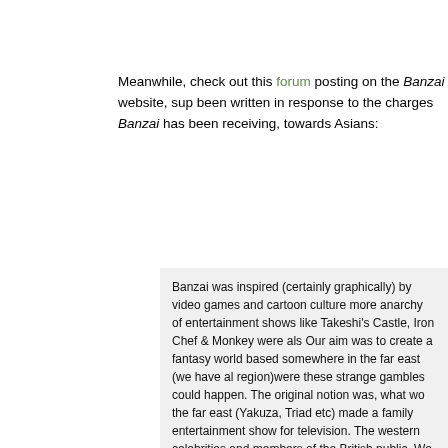Meanwhile, check out this forum posting on the Banzai website, supposed to have been written in response to the charges Banzai has been receiving, towards Asians:
Banzai was inspired (certainly graphically) by video games and cartoon culture more anarchy of entertainment shows like Takeshi's Castle, Iron Chef & Monkey were also Our aim was to create a fantasy world based somewhere in the far east (we have al region)were these strange gambles could happen. The original notion was, what wo the far east (Yakuza, Triad etc) made a family entertainment show for television. The western celebrities and members of the British public. We are the pawns in their gar

Our cast is a mixed bunch. The voiceover is performed by Asian actors who are now Panther legend & the voice of the Water Margin) & Aiji (Japanese game show host). singer from Japan based in London), Jit (an ex-accountant from Singapore), and Sh

I am white and from Liverpool, so apologies for that but really there was nothing I co offensive, I'm a big fan of Japanese design, film and games, and I've tried to be auth first aired in the UK, it was widely thought to be a Japanese import for a long time - t

Obviously the show is controversial, but I'd like it to be more for the content of our ga as far as they can possibly be pushed. Sadly in America that isn't too far, but in the U being racist (in fact I haven't received one single allegation of racism from anyone u